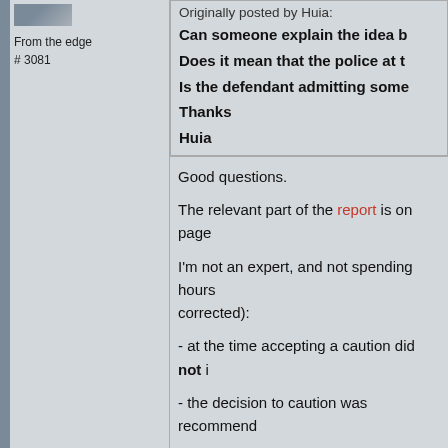[Figure (illustration): Small avatar/thumbnail image in upper left of sidebar]
From the edge
# 3081
Originally posted by Huia:
Can someone explain the idea b

Does it mean that the police at t

Is the defendant admitting some

Thanks

Huia
Good questions.
The relevant part of the report is on page
I'm not an expert, and not spending hours corrected):
- at the time accepting a caution did not i
- the decision to caution was recommend
- the report says elsewhere that one of th the victims the pain of a court appearanc
- there is little doubt it was also felt such a might be in the interests of the CoE (as w
It seems to me that the issue of whether